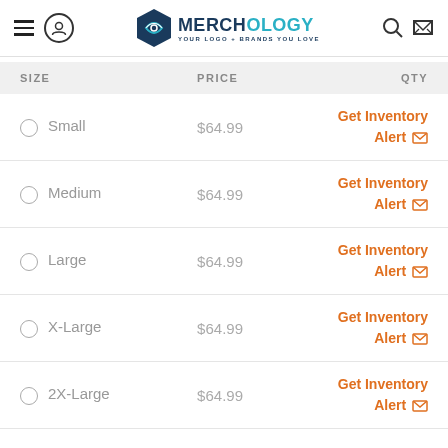[Figure (logo): Merchology logo with hexagon icon and tagline 'YOUR LOGO + BRANDS YOU LOVE']
| SIZE | PRICE | QTY |
| --- | --- | --- |
| Small | $64.99 | Get Inventory Alert |
| Medium | $64.99 | Get Inventory Alert |
| Large | $64.99 | Get Inventory Alert |
| X-Large | $64.99 | Get Inventory Alert |
| 2X-Large | $64.99 | Get Inventory Alert |